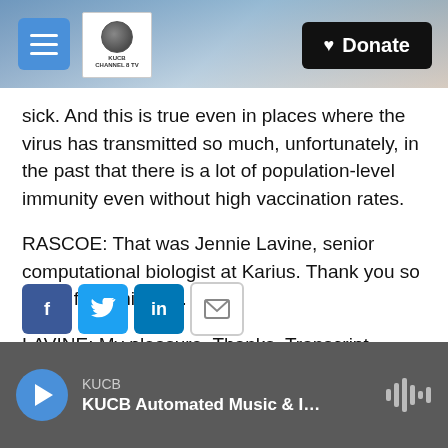[Figure (screenshot): Website header with mountain/sky background, hamburger menu button, KUCB Channel 8 TV logo, and black Donate button with heart icon]
sick. And this is true even in places where the virus has transmitted so much, unfortunately, in the past that there is a lot of population-level immunity even without high vaccination rates.
RASCOE: That was Jennie Lavine, senior computational biologist at Karius. Thank you so much for joining us.
LAVINE: My pleasure. Thanks. Transcript provided by NPR, Copyright NPR.
[Figure (infographic): Social share buttons: Facebook (f), Twitter (bird), LinkedIn (in), Email (envelope icon)]
[Figure (infographic): Audio player bar with play button, KUCB station label, 'KUCB Automated Music & I...' title, and audio waveform icon]